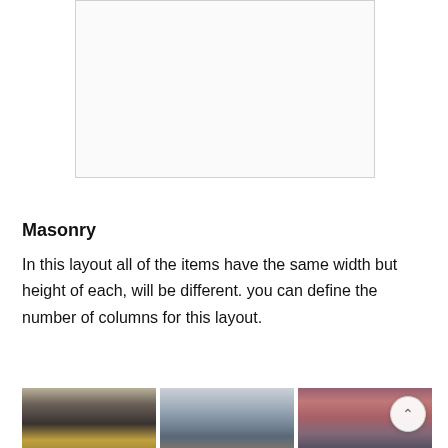[Figure (other): White/light grey rectangular placeholder box with a thin border, representing a UI component or image placeholder]
Masonry
In this layout all of the items have the same width but height of each, will be different. you can define the number of columns for this layout.
[Figure (photo): Three-column masonry photo gallery showing: (1) a person at a train station wearing a hat, (2) the Chapel Bridge in Lucerne Switzerland, (3) a city skyline at dusk/sunset with pink-purple sky]